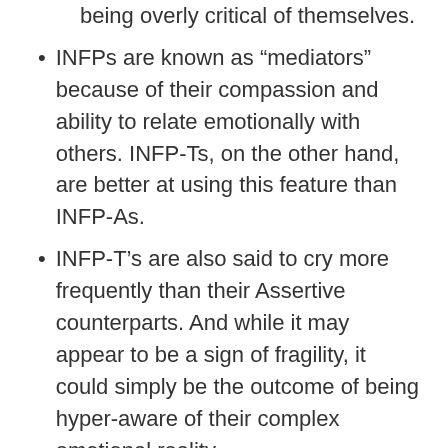being overly critical of themselves.
INFPs are known as “mediators” because of their compassion and ability to relate emotionally with others. INFP-Ts, on the other hand, are better at using this feature than INFP-As.
INFP-T’s are also said to cry more frequently than their Assertive counterparts. And while it may appear to be a sign of fragility, it could simply be the outcome of being hyper-aware of their complex emotional reality.
While being sensitive has its drawbacks, an INFP-T uses their